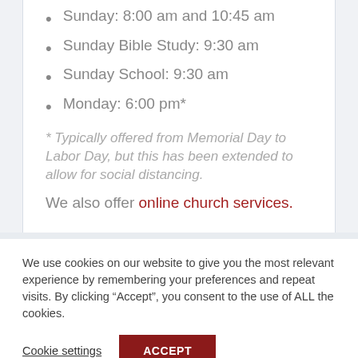Sunday: 8:00 am and 10:45 am
Sunday Bible Study: 9:30 am
Sunday School: 9:30 am
Monday: 6:00 pm*
* Typically offered from Memorial Day to Labor Day, but this has been extended to allow for social distancing.
We also offer online church services.
We use cookies on our website to give you the most relevant experience by remembering your preferences and repeat visits. By clicking “Accept”, you consent to the use of ALL the cookies.
Cookie settings  ACCEPT